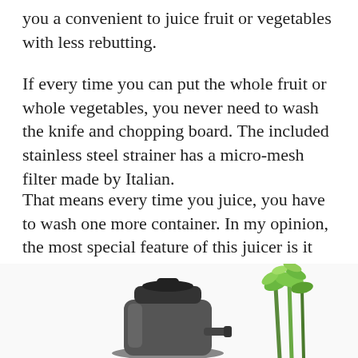you a convenient to juice fruit or vegetables with less rebutting.
If every time you can put the whole fruit or whole vegetables, you never need to wash the knife and chopping board. The included stainless steel strainer has a micro-mesh filter made by Italian.
That means every time you juice, you have to wash one more container. In my opinion, the most special feature of this juicer is it collects the pulp internally.
It helps me reduce the chore when I need to juice. This is Seville Juice Fountain with an 850-watt motor and weighs 13.2 pounds.
[Figure (photo): Photo of a juicer appliance with celery/greens next to it, partially cropped at bottom of page]